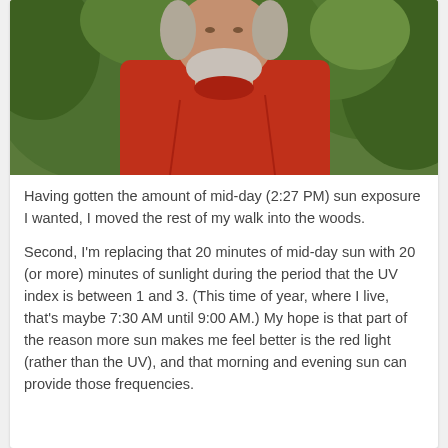[Figure (photo): An older man with a white beard wearing a red shirt, standing outdoors in front of green trees and foliage.]
Having gotten the amount of mid-day (2:27 PM) sun exposure I wanted, I moved the rest of my walk into the woods.
Second, I'm replacing that 20 minutes of mid-day sun with 20 (or more) minutes of sunlight during the period that the UV index is between 1 and 3. (This time of year, where I live, that's maybe 7:30 AM until 9:00 AM.) My hope is that part of the reason more sun makes me feel better is the red light (rather than the UV), and that morning and evening sun can provide those frequencies.